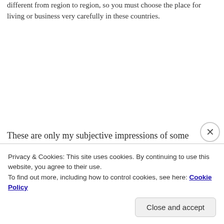different from region to region, so you must choose the place for living or business very carefully in these countries.
[Figure (screenshot): Advertisement banner with orange background showing text 'Search, browse, and' with a smartphone image on the right side. Labeled 'Advertisements' above.]
These are only my subjective impressions of some countries, but I am afraid to tire your readers.
Partial text line (clipped)
Privacy & Cookies: This site uses cookies. By continuing to use this website, you agree to their use.
To find out more, including how to control cookies, see here: Cookie Policy